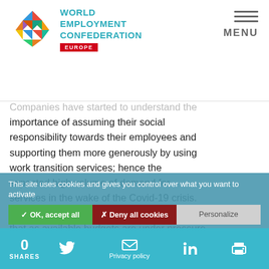World Employment Confederation Europe — MENU
Companies have started to understand the importance of assuming their social responsibility towards their employees and supporting them more generously by using work transition services; hence the expected high volume of demand for services in the wake of the Covid-19 crisis. Career management firms however fear that as available budgets are under pressure and mutual competition has increased sharply, the price pressure could result in low quality services, which eventually
This site uses cookies and gives you control over what you want to activate
✓ OK, accept all   ✗ Deny all cookies   Personalize
0 SHARES — social share icons — Privacy policy